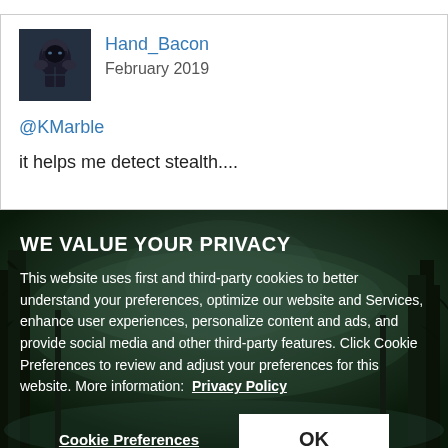Hand_Bacon
February 2019
@KMarble
it helps me detect stealth....
WE VALUE YOUR PRIVACY
This website uses first and third-party cookies to better understand your preferences, optimize our website and Services, enhance user experiences, personalize content and ads, and provide social third-party features. Click Cookie Preferences to review and adjust your preferences for this website. More information:  Privacy Policy
Cookie Preferences
OK